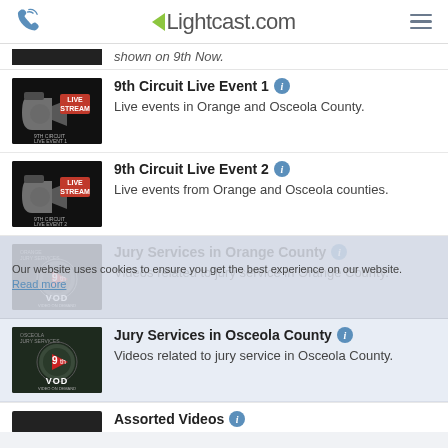Lightcast.com
shown on 9th Now.
9th Circuit Live Event 1 — Live events in Orange and Osceola County.
9th Circuit Live Event 2 — Live events from Orange and Osceola counties.
Jury Services in Orange County — Videos related to jury service in Orange County.
Jury Services in Osceola County — Videos related to jury service in Osceola County.
Assorted Videos